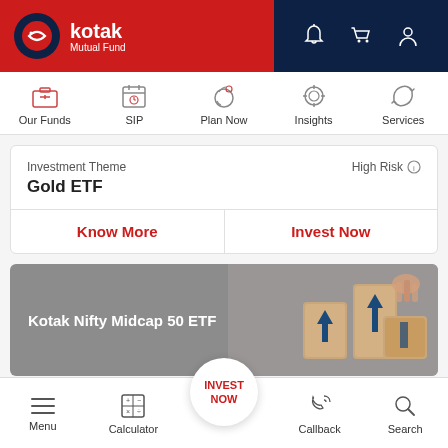[Figure (screenshot): Kotak Mutual Fund app header with logo on red background and navigation icons (bell, cart, profile) on dark navy background]
[Figure (infographic): Navigation bar with icons: Our Funds (briefcase), SIP (calendar), Plan Now (piggy bank), Insights (gear), Services (refresh arrows)]
Investment Theme
Gold ETF
High Risk
Know More
Invest Now
Kotak Nifty Midcap 50 ETF
[Figure (illustration): Promotional banner for Kotak Nifty Midcap 50 ETF with wooden blocks showing arrows pointing upward]
INVEST NOW
Menu
Calculator
Callback
Search